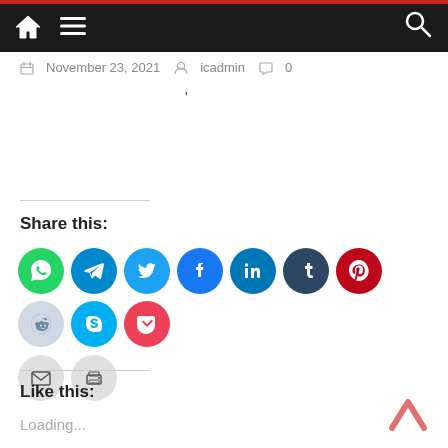Navigation bar with home icon, menu icon, and search icon
November 23, 2021  icadmin  0
'
Share this:
[Figure (infographic): Row of social media share buttons: WhatsApp (green), Telegram (blue), Twitter (cyan), Facebook (blue), LinkedIn (dark blue), Tumblr (navy), Pinterest (red), Reddit (light blue/grey), Skype (cyan), Pocket (red); below: Email (grey) and Print (grey)]
Like this:
Loading...